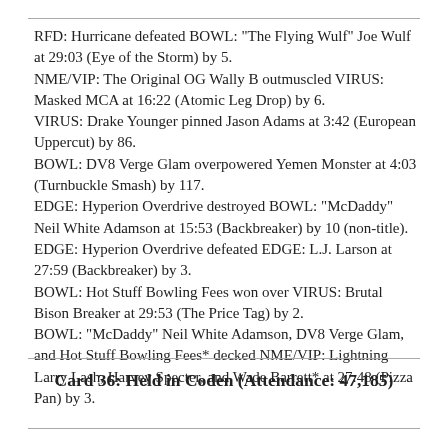RFD: Hurricane defeated BOWL: "The Flying Wulf" Joe Wulf at 29:03 (Eye of the Storm) by 5.
NME/VIP: The Original OG Wally B outmuscled VIRUS: Masked MCA at 16:22 (Atomic Leg Drop) by 6.
VIRUS: Drake Younger pinned Jason Adams at 3:42 (European Uppercut) by 86.
BOWL: DV8 Verge Glam overpowered Yemen Monster at 4:03 (Turnbuckle Smash) by 117.
EDGE: Hyperion Overdrive destroyed BOWL: "McDaddy" Neil White Adamson at 15:53 (Backbreaker) by 10 (non-title).
EDGE: Hyperion Overdrive defeated EDGE: L.J. Larson at 27:59 (Backbreaker) by 3.
BOWL: Hot Stuff Bowling Fees won over VIRUS: Brutal Bison Breaker at 29:53 (The Price Tag) by 2.
BOWL: "McDaddy" Neil White Adamson, DV8 Verge Glam, and Hot Stuff Bowling Fees* decked NME/VIP: Lightning Larry Lash, Harvey Specter, and Wade Barrett* at 27:48 (Pizza Pan) by 3.
Card 36: Held in Coden (Attendance: 47,185)